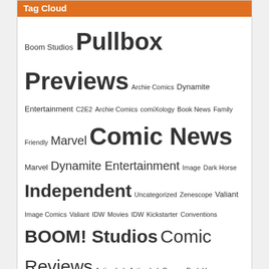Tag Cloud
Boom Studios Pullbox Previews Archie Comics Dynamite Entertainment C2E2 Archie Comics comiXology Book News Family Friendly Marvel Comic News Marvel Dynamite Entertainment Image Dark Horse Independent Uncategorized Zenescope Valiant Image Comics Valiant IDW Movies IDW Kickstarter Conventions BOOM! Studios Comic Reviews Action Lab Action Lab Games Dark Horse Dynamite Aspen Comics Zenescope Titan TV Kindt BOOM! Studios Toys Mature Content Star Wars Kickstarter Titan Comics Pullbox Reviews
ThePullbox.com is a part of ThePullbox LLC © 2007-2022